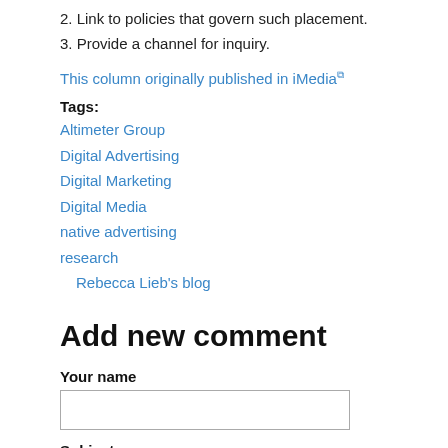2. Link to policies that govern such placement.
3. Provide a channel for inquiry.
This column originally published in iMedia [external link]
Tags:
Altimeter Group
Digital Advertising
Digital Marketing
Digital Media
native advertising
research
Rebecca Lieb's blog
Add new comment
Your name
Subject
Comment *